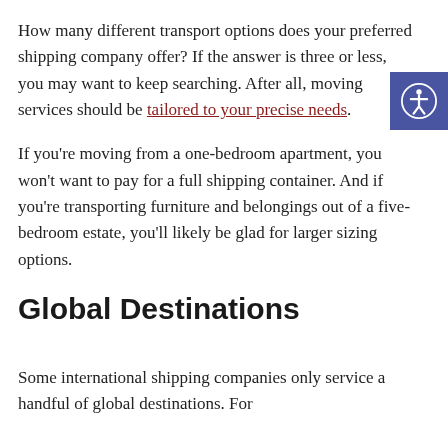How many different transport options does your preferred shipping company offer? If the answer is three or less, you may want to keep searching. After all, moving services should be tailored to your precise needs.
If you're moving from a one-bedroom apartment, you won't want to pay for a full shipping container. And if you're transporting furniture and belongings out of a five-bedroom estate, you'll likely be glad for larger sizing options.
Global Destinations
Some international shipping companies only service a handful of global destinations. For